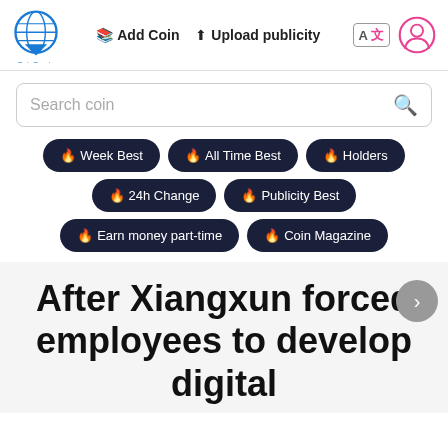CoinCryptoRadar  Add Coin  Upload publicity  A文  [user icon]
Search coin
🔥 Week Best
🔥 All Time Best
🔥 Holders
🔥 24h Change
🔥 Publicity Best
🔥 Earn money part-time
🔥 Coin Magazine
After Xiangxun forced employees to develop digital